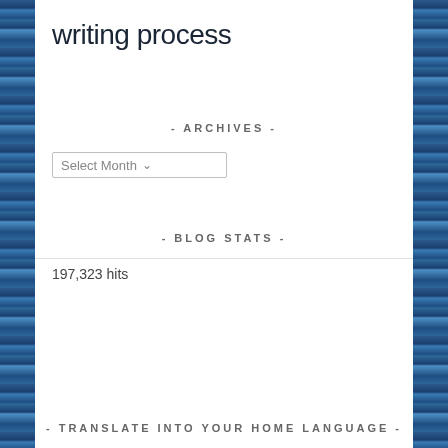writing process
- ARCHIVES -
[Figure (other): Select Month dropdown widget]
- BLOG STATS -
197,323 hits
- TRANSLATE INTO YOUR HOME LANGUAGE -